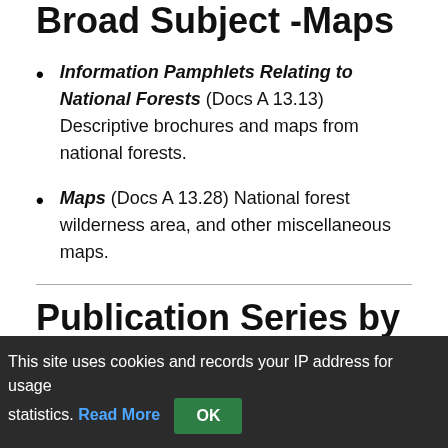Broad Subject -Maps
Information Pamphlets Relating to National Forests (Docs A 13.13) Descriptive brochures and maps from national forests.
Maps (Docs A 13.28) National forest wilderness area, and other miscellaneous maps.
Publication Series by Broad Subject -Range
This site uses cookies and records your IP address for usage statistics. Read More OK